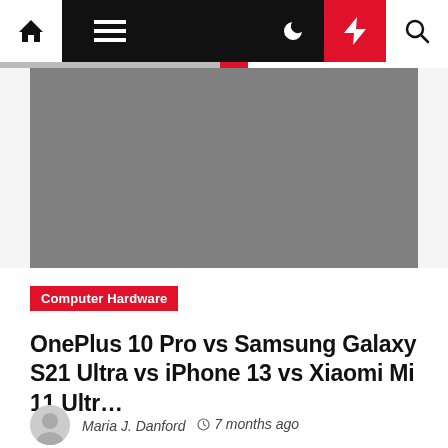Navigation bar with home, menu, moon, lightning, and search icons
[Figure (photo): Gray placeholder hero image for article]
Computer Hardware
OnePlus 10 Pro vs Samsung Galaxy S21 Ultra vs iPhone 13 vs Xiaomi Mi 11 Ultr...
Maria J. Danford  7 months ago